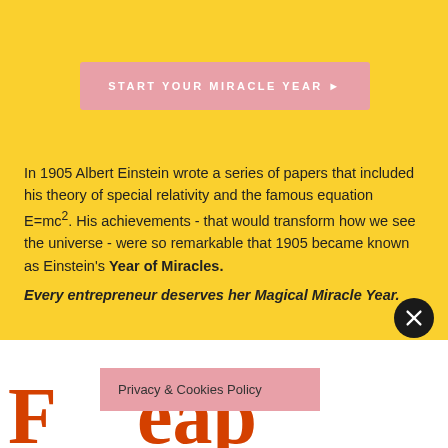[Figure (other): Pink rounded button with text 'START YOUR MIRACLE YEAR ►' in white uppercase letters on yellow background]
In 1905 Albert Einstein wrote a series of papers that included his theory of special relativity and the famous equation E=mc².  His achievements - that would transform how we see the universe -  were so remarkable that 1905 became known as Einstein's Year of Miracles.
Every entrepreneur deserves her Magical Miracle Year.
[Figure (other): Black circle close/X button in bottom-right of yellow section]
Privacy & Cookies Policy
Partial large red text letters visible at bottom of page